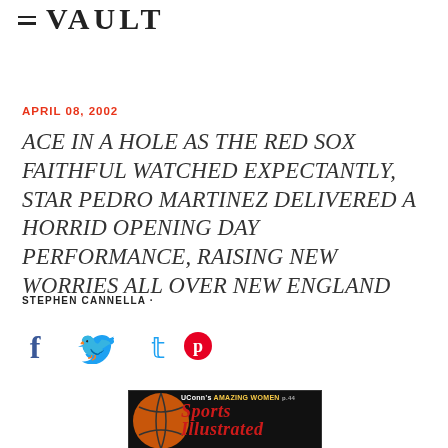VAULT
APRIL 08, 2002
ACE IN A HOLE AS THE RED SOX FAITHFUL WATCHED EXPECTANTLY, STAR PEDRO MARTINEZ DELIVERED A HORRID OPENING DAY PERFORMANCE, RAISING NEW WORRIES ALL OVER NEW ENGLAND
STEPHEN CANNELLA ·
[Figure (illustration): Social media share icons: Facebook (f), Twitter (bird), Pinterest (P)]
[Figure (photo): Sports Illustrated magazine cover showing a basketball and the text UConn's AMAZING WOMEN with the Sports Illustrated logo]